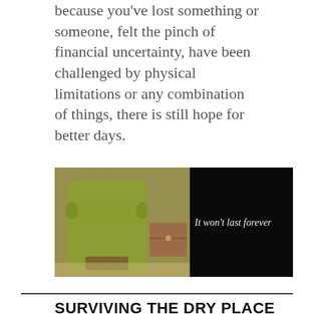because you've lost something or someone, felt the pinch of financial uncertainty, have been challenged by physical limitations or any combination of things, there is still hope for better days.
[Figure (photo): Split image: left side shows a yellow-green armchair near a window with a book on it; right side is black with white cursive text reading 'It won't last forever']
SURVIVING THE DRY PLACE
How to Cope When Everything is Falling Apart
[Figure (photo): Partial bottom image, appears to be a landscape or outdoor scene]